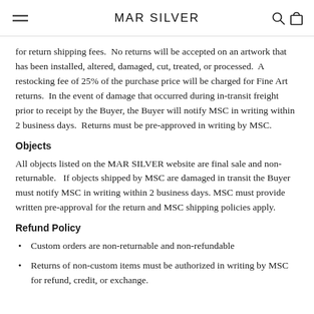MAR SILVER
for return shipping fees.  No returns will be accepted on an artwork that has been installed, altered, damaged, cut, treated, or processed.  A restocking fee of 25% of the purchase price will be charged for Fine Art returns.  In the event of damage that occurred during in-transit freight prior to receipt by the Buyer, the Buyer will notify MSC in writing within 2 business days.  Returns must be pre-approved in writing by MSC.
Objects
All objects listed on the MAR SILVER website are final sale and non-returnable.   If objects shipped by MSC are damaged in transit the Buyer must notify MSC in writing within 2 business days. MSC must provide written pre-approval for the return and MSC shipping policies apply.
Refund Policy
Custom orders are non-returnable and non-refundable
Returns of non-custom items must be authorized in writing by MSC for refund, credit, or exchange.